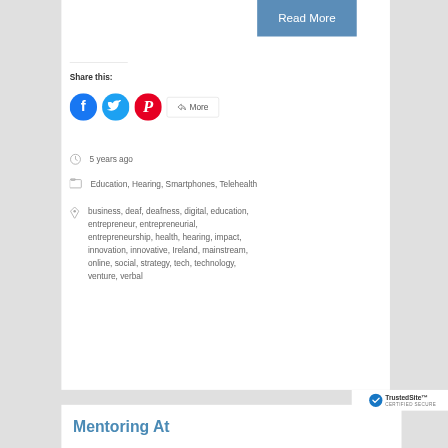Read More
Share this:
[Figure (illustration): Social share icons: Facebook (blue circle with f), Twitter (light blue circle with bird), Pinterest (red circle with P), and a More button with share icon]
5 years ago
Education, Hearing, Smartphones, Telehealth
business, deaf, deafness, digital, education, entrepreneur, entrepreneurial, entrepreneurship, health, hearing, impact, innovation, innovative, Ireland, mainstream, online, social, strategy, tech, technology, venture, verbal
Mentoring At